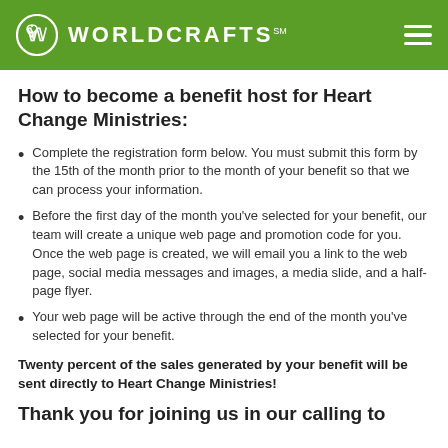WorldCrafts
How to become a benefit host for Heart Change Ministries:
Complete the registration form below. You must submit this form by the 15th of the month prior to the month of your benefit so that we can process your information.
Before the first day of the month you've selected for your benefit, our team will create a unique web page and promotion code for you. Once the web page is created, we will email you a link to the web page, social media messages and images, a media slide, and a half-page flyer.
Your web page will be active through the end of the month you've selected for your benefit.
Twenty percent of the sales generated by your benefit will be sent directly to Heart Change Ministries!
Thank you for joining us in our calling to